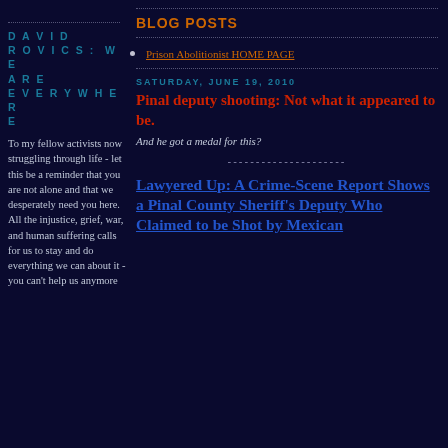DAVID ROVICS: WE ARE EVERYWHERE
BLOG POSTS
Prison Abolitionist HOME PAGE
SATURDAY, JUNE 19, 2010
Pinal deputy shooting: Not what it appeared to be.
And he got a medal for this?
To my fellow activists now struggling through life - let this be a reminder that you are not alone and that we desperately need you here. All the injustice, grief, war, and human suffering calls for us to stay and do everything we can about it - you can't help us anymore
Lawyered Up: A Crime-Scene Report Shows a Pinal County Sheriff's Deputy Who Claimed to be Shot by Mexican